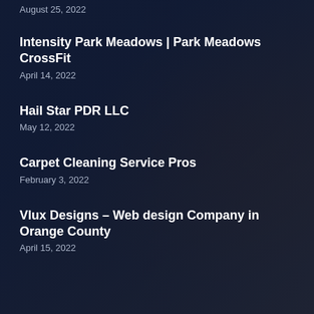August 25, 2022
Intensity Park Meadows | Park Meadows CrossFit
April 14, 2022
Hail Star PDR LLC
May 12, 2022
Carpet Cleaning Service Pros
February 3, 2022
Vlux Designs – Web design Company in Orange County
April 15, 2022